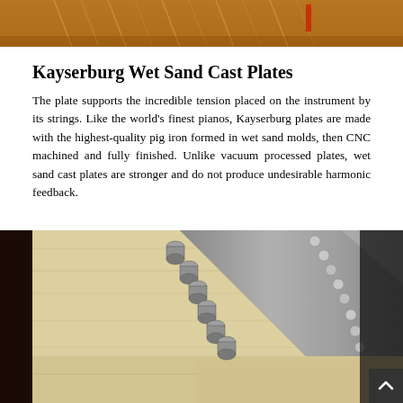[Figure (photo): Close-up photo of piano strings and tuning pins arrangement, warm amber/orange tones]
Kayserburg Wet Sand Cast Plates
The plate supports the incredible tension placed on the instrument by its strings. Like the world's finest pianos, Kayserburg plates are made with the highest-quality pig iron formed in wet sand molds, then CNC machined and fully finished. Unlike vacuum processed plates, wet sand cast plates are stronger and do not produce undesirable harmonic feedback.
[Figure (photo): Close-up photo of piano tuning pins and strings on a wooden pin block, showing metal tuning pins in rows against a light wood surface]